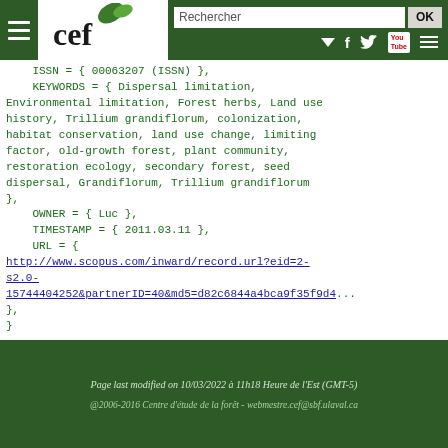CEF website header with logo, search bar (Rechercher / OK), and social icons
ISSN = { 00063207 (ISSN) },
    KEYWORDS = { Dispersal limitation, Environmental limitation, Forest herbs, Land use history, Trillium grandiflorum, colonization, habitat conservation, land use change, limiting factor, old-growth forest, plant community, restoration ecology, secondary forest, seed dispersal, Grandiflorum, Trillium grandiflorum },
    OWNER = { Luc },
    TIMESTAMP = { 2011.03.11 },
    URL = { http://www.scopus.com/inward/record.url?eid=2-s2.0-15744404252&partnerID=40&md5=d82c6844a4bca9f35f9d4... },
}
Page last modified on 10/03/2022 à 11h18 Heure de l'Est (GMT-5)
@2006-2016 Centre d'étude de la forêt - webmestre.cef@sbf.ulaval.ca